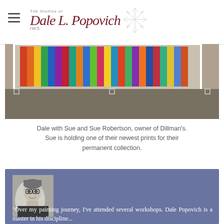The Studios of Dale L. Popovich IWS
[Figure (photo): Photo of artwork prints/paintings displayed at Dillman's, colorful prints visible]
Dale with Sue and Sue Robertson, owner of Dillman's. Sue is holding one of their newest prints for their permanent collection.
[Figure (photo): Black and white portrait photo of a woman with short hair and glasses, smiling]
"Over my painting journey, I've attended several workshops Dale Popovich is a master in his discipline...